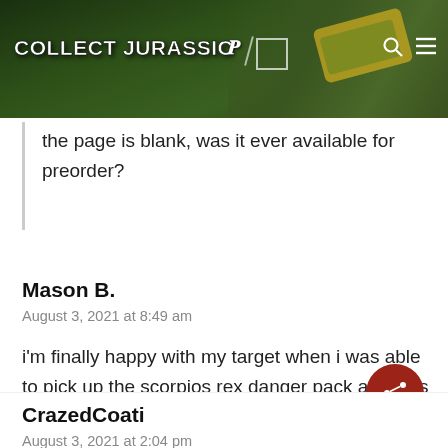COLLECT JURASSIC
the page is blank, was it ever available for preorder?
Mason B.
August 3, 2021 at 8:49 am
i'm finally happy with my target when i was able to pick up the scorpios rex danger pack and was able to add a new camper to my collection
CrazedCoati
August 3, 2021 at 2:04 pm